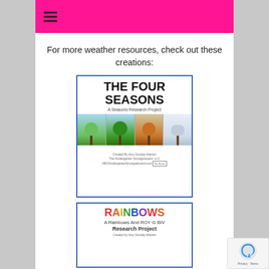Navigation menu header (pink bar with hamburger icon)
For more weather resources, check out these creations:
[Figure (illustration): Book cover for 'The Four Seasons - A Seasons Research Project' showing a title in bold black text and four panels of trees representing each season (spring, summer, autumn, winter) with a blue border]
[Figure (illustration): Book cover for 'RAINBOWS - A Rainbows And ROY G BIV Research Project' with colorful lettering spelling RAINBOWS in multiple colors with a blue border, partially visible]